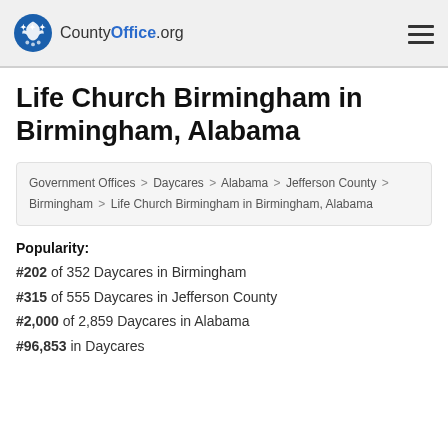CountyOffice.org
Life Church Birmingham in Birmingham, Alabama
Government Offices > Daycares > Alabama > Jefferson County > Birmingham > Life Church Birmingham in Birmingham, Alabama
Popularity:
#202 of 352 Daycares in Birmingham
#315 of 555 Daycares in Jefferson County
#2,000 of 2,859 Daycares in Alabama
#96,853 in Daycares